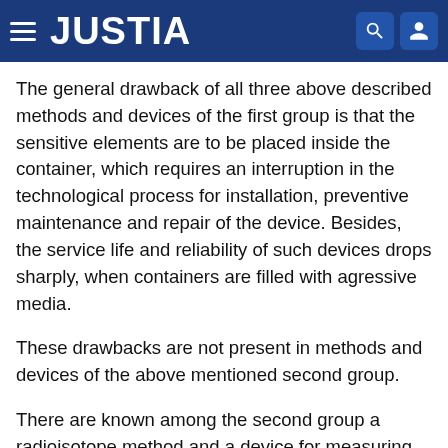JUSTIA
The general drawback of all three above described methods and devices of the first group is that the sensitive elements are to be placed inside the container, which requires an interruption in the technological process for installation, preventive maintenance and repair of the device. Besides, the service life and reliability of such devices drops sharply, when containers are filled with agressive media.
These drawbacks are not present in methods and devices of the above mentioned second group.
There are known among the second group a radioisotope method and a device for measuring properties of fluids, e.g. concentration of liquid solutions.
This method consists of measuring the variations in